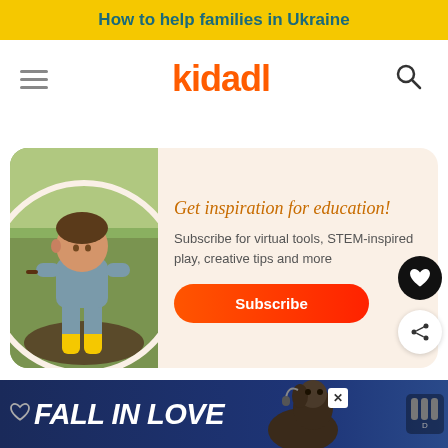How to help families in Ukraine
[Figure (logo): Kidadl logo with hamburger menu and search icon]
[Figure (infographic): Subscription card with child playing in garden, text: Get inspiration for education! Subscribe for virtual tools, STEM-inspired play, creative tips and more. Subscribe button.]
[Figure (photo): Ad banner: FALL IN LOVE with dog image]